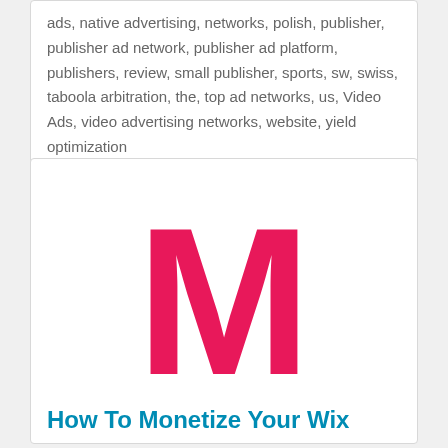ads, native advertising, networks, polish, publisher, publisher ad network, publisher ad platform, publishers, review, small publisher, sports, sw, swiss, taboola arbitration, the, top ad networks, us, Video Ads, video advertising networks, website, yield optimization
[Figure (logo): Large bold pink/magenta letter M on white background, resembling a brand logo]
How To Monetize Your Wix